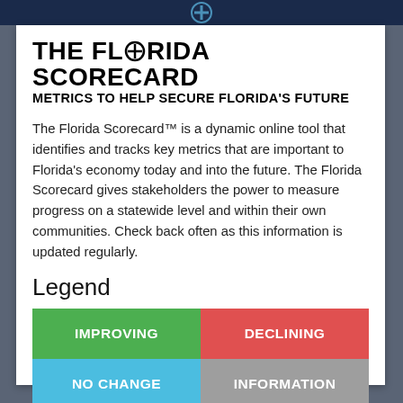[Figure (logo): Dark blue top bar with Florida Scorecard logo icon (cross/plus symbol in circle)]
THE FLORIDA SCORECARD
METRICS TO HELP SECURE FLORIDA'S FUTURE
The Florida Scorecard™ is a dynamic online tool that identifies and tracks key metrics that are important to Florida's economy today and into the future. The Florida Scorecard gives stakeholders the power to measure progress on a statewide level and within their own communities. Check back often as this information is updated regularly.
Legend
| IMPROVING | DECLINING |
| NO CHANGE | INFORMATION |